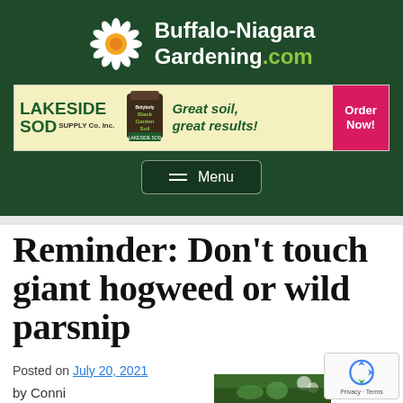[Figure (logo): Buffalo-Niagara Gardening.com website header with white daisy logo on dark green background]
[Figure (infographic): Lakeside Sod Supply Co. Inc. advertisement banner: Great soil, great results! Order Now!]
Menu
Reminder: Don't touch giant hogweed or wild parsnip
Posted on July 20, 2021
by Connie
[Figure (photo): Partial thumbnail photo of giant hogweed or wild parsnip plant in the bottom right corner]
[Figure (other): Google reCAPTCHA badge overlay in bottom right]